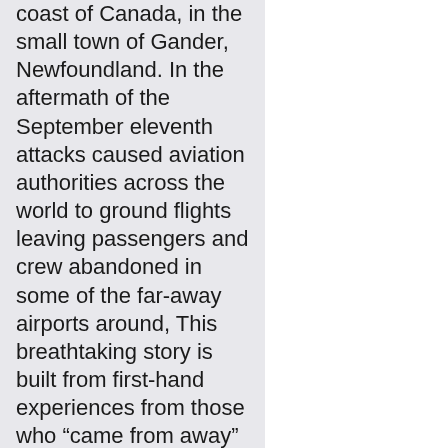coast of Canada, in the small town of Gander, Newfoundland. In the aftermath of the September eleventh attacks caused aviation authorities across the world to ground flights leaving passengers and crew abandoned in some of the far-away airports around, This breathtaking story is built from first-hand experiences from those who “came from away” and spent almost 2 weeks abandoned in Gander. Book your